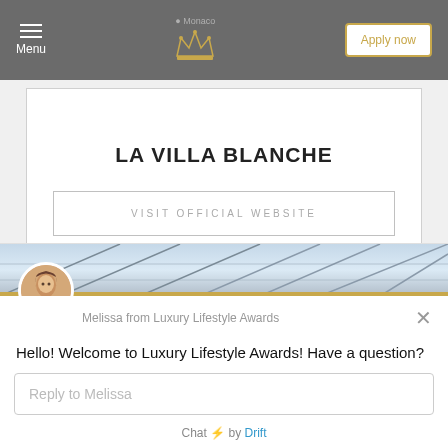Menu | Monaco | Apply now
LA VILLA BLANCHE
VISIT OFFICIAL WEBSITE
[Figure (screenshot): Chat popup with header image showing glass ceiling structure. Avatar of Melissa, a woman with brown hair.]
Melissa from Luxury Lifestyle Awards
Hello! Welcome to Luxury Lifestyle Awards! Have a question?
Reply to Melissa
Chat ⚡ by Drift